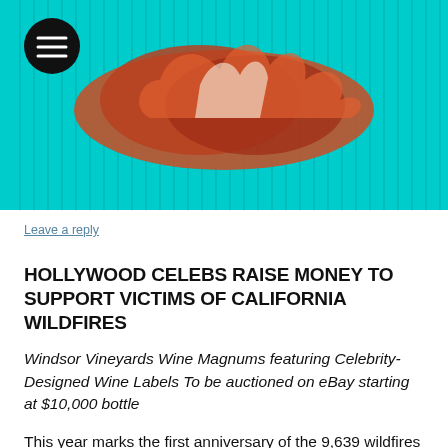[Figure (photo): Webpage screenshot header showing a teal/cyan striped background with a fire/flames illustration and a hamburger menu icon in a black circle]
Leave a reply
HOLLYWOOD CELEBS RAISE MONEY TO SUPPORT VICTIMS OF CALIFORNIA WILDFIRES
Windsor Vineyards Wine Magnums featuring Celebrity-Designed Wine Labels To be auctioned on eBay starting at $10,000 bottle
This year marks the first anniversary of the 9,639 wildfires that affected over 10,000 California residents and businesses in 2020 — from wine country in the north down south Hollywood Hills. As the 2021 wildfire season fast appro celebrities are showing support and solidarity by partnering